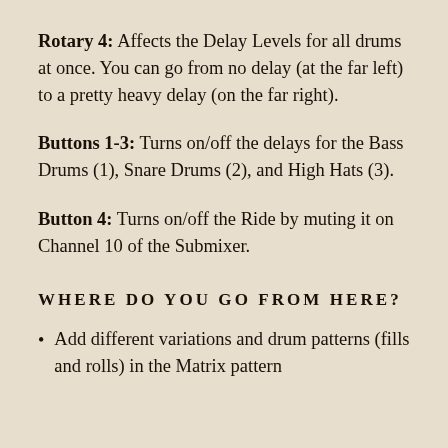Rotary 4: Affects the Delay Levels for all drums at once. You can go from no delay (at the far left) to a pretty heavy delay (on the far right).
Buttons 1-3: Turns on/off the delays for the Bass Drums (1), Snare Drums (2), and High Hats (3).
Button 4: Turns on/off the Ride by muting it on Channel 10 of the Submixer.
WHERE DO YOU GO FROM HERE?
Add different variations and drum patterns (fills and rolls) in the Matrix pattern